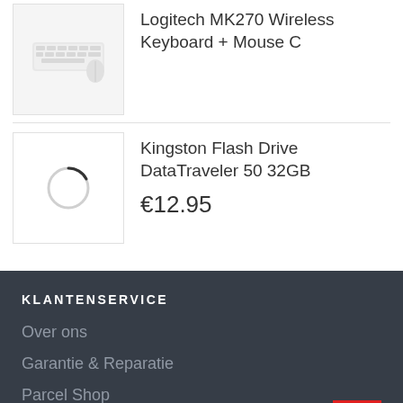[Figure (photo): Logitech MK270 wireless keyboard product thumbnail image, light gray keyboard silhouette on white/light gray background]
Logitech MK270 Wireless Keyboard + Mouse C
[Figure (photo): Kingston Flash Drive DataTraveler 50 32GB product thumbnail, loading spinner circle icon on white background]
Kingston Flash Drive DataTraveler 50 32GB
€12.95
KLANTENSERVICE
Over ons
Garantie & Reparatie
Parcel Shop
Contact